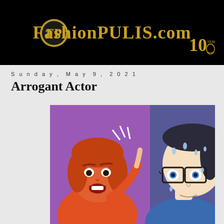FashionPULIS.com
Sunday, May 9, 2021
Arrogant Actor
[Figure (illustration): Pop art comic style illustration showing an angry red-haired woman pointing her finger and a nervous man with glasses sweating]